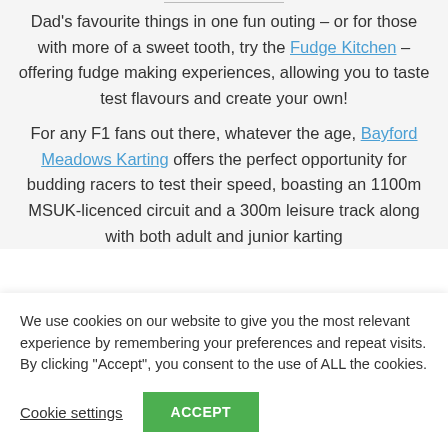Dad's favourite things in one fun outing – or for those with more of a sweet tooth, try the Fudge Kitchen – offering fudge making experiences, allowing you to taste test flavours and create your own!
For any F1 fans out there, whatever the age, Bayford Meadows Karting offers the perfect opportunity for budding racers to test their speed, boasting an 1100m MSUK-licenced circuit and a 300m leisure track along with both adult and junior karting
We use cookies on our website to give you the most relevant experience by remembering your preferences and repeat visits. By clicking "Accept", you consent to the use of ALL the cookies.
Cookie settings
ACCEPT